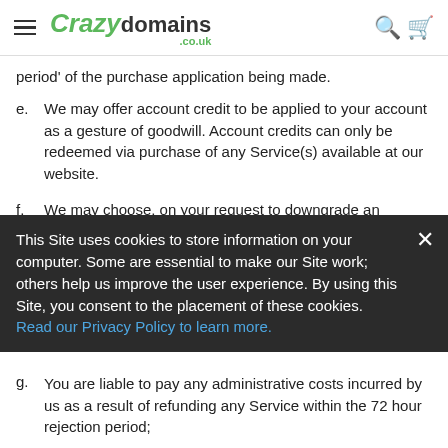Crazy domains .co.uk
period' of the purchase application being made.
e. We may offer account credit to be applied to your account as a gesture of goodwill. Account credits can only be redeemed via purchase of any Service(s) available at our website.
f. We may choose, on your request to downgrade an account however no refund or account credit will be applied if
This Site uses cookies to store information on your computer. Some are essential to make our Site work; others help us improve the user experience. By using this Site, you consent to the placement of these cookies. Read our Privacy Policy to learn more.
g. You are liable to pay any administrative costs incurred by us as a result of refunding any Service within the 72 hour rejection period;